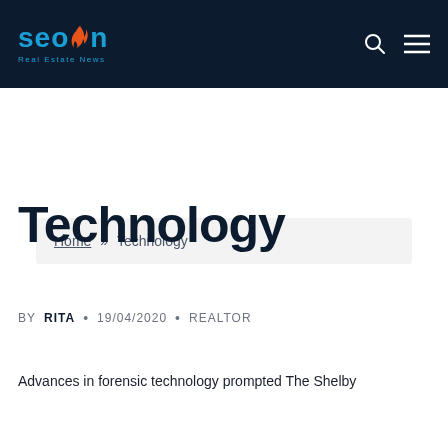seon Real Estate News
Home » Technology
Technology
BY RITA • 19/04/2020 • REALTOR
Advances in forensic technology prompted The Shelby